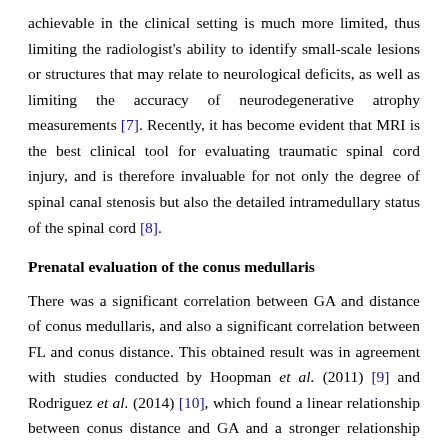achievable in the clinical setting is much more limited, thus limiting the radiologist's ability to identify small-scale lesions or structures that may relate to neurological deficits, as well as limiting the accuracy of neurodegenerative atrophy measurements [7]. Recently, it has become evident that MRI is the best clinical tool for evaluating traumatic spinal cord injury, and is therefore invaluable for not only the degree of spinal canal stenosis but also the detailed intramedullary status of the spinal cord [8].
Prenatal evaluation of the conus medullaris
There was a significant correlation between GA and distance of conus medullaris, and also a significant correlation between FL and conus distance. This obtained result was in agreement with studies conducted by Hoopman et al. (2011) [9] and Rodriguez et al. (2014) [10], which found a linear relationship between conus distance and GA and a stronger relationship between conus distance and FL.
Through this study, the regression formula was easy to use, as the expected conus distance can be calculated as follows: conus distance = 0.82 × FL-9.4. The formula for the relation between conus distance and GA is as follows: conus distance = 1.78 × GA−16.6. The regression equation between conus distance and